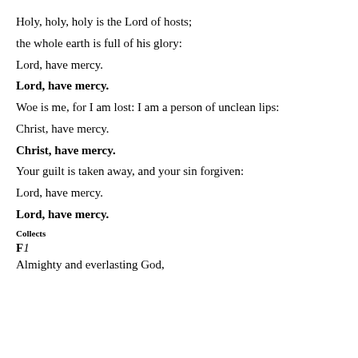Holy, holy, holy is the Lord of hosts;
the whole earth is full of his glory:
Lord, have mercy.
Lord, have mercy.
Woe is me, for I am lost: I am a person of unclean lips:
Christ, have mercy.
Christ, have mercy.
Your guilt is taken away, and your sin forgiven:
Lord, have mercy.
Lord, have mercy.
Collects
F1
Almighty and everlasting God,